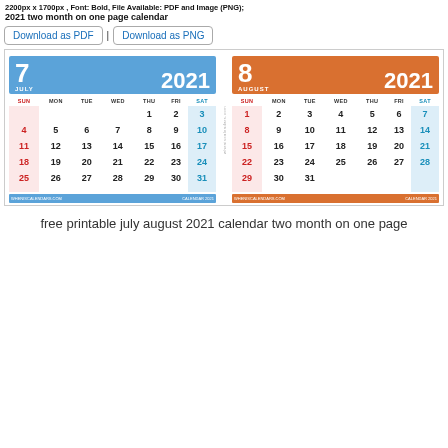2200px x 1700px , Font: Bold, File Available: PDF and Image (PNG);
2021 two month on one page calendar
Download as PDF | Download as PNG
[Figure (other): Two-month calendar showing July 2021 and August 2021 side by side. July header is blue, August header is orange. Both show a standard monthly grid with SUN-SAT columns. Sundays highlighted in red/pink, Saturdays in blue. Footer bars show wheniscalendars.com and CALENDAR 2021.]
free printable july august 2021 calendar two month on one page